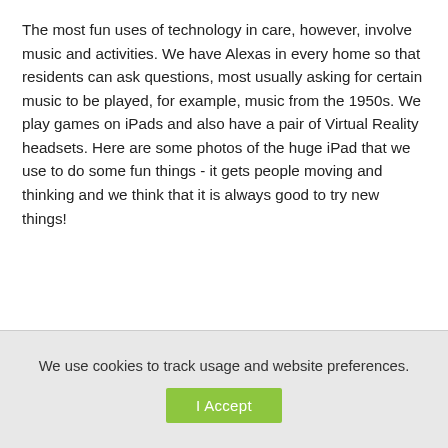The most fun uses of technology in care, however, involve music and activities. We have Alexas in every home so that residents can ask questions, most usually asking for certain music to be played, for example, music from the 1950s. We play games on iPads and also have a pair of Virtual Reality headsets. Here are some photos of the huge iPad that we use to do some fun things - it gets people moving and thinking and we think that it is always good to try new things!
We use cookies to track usage and website preferences.
I Accept